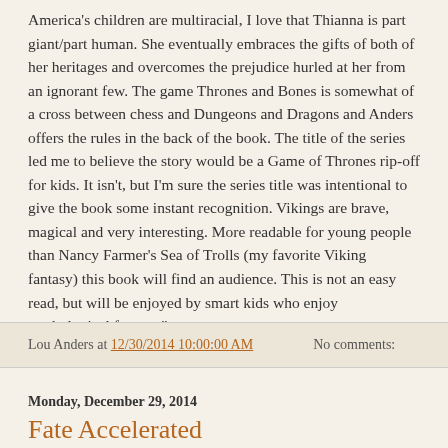America's children are multiracial, I love that Thianna is part giant/part human. She eventually embraces the gifts of both of her heritages and overcomes the prejudice hurled at her from an ignorant few. The game Thrones and Bones is somewhat of a cross between chess and Dungeons and Dragons and Anders offers the rules in the back of the book. The title of the series led me to believe the story would be a Game of Thrones rip-off for kids. It isn't, but I'm sure the series title was intentional to give the book some instant recognition. Vikings are brave, magical and very interesting. More readable for young people than Nancy Farmer's Sea of Trolls (my favorite Viking fantasy) this book will find an audience. This is not an easy read, but will be enjoyed by smart kids who enjoy mythological fantasy."
Lou Anders at 12/30/2014 10:00:00 AM   No comments:
Monday, December 29, 2014
Fate Accelerated